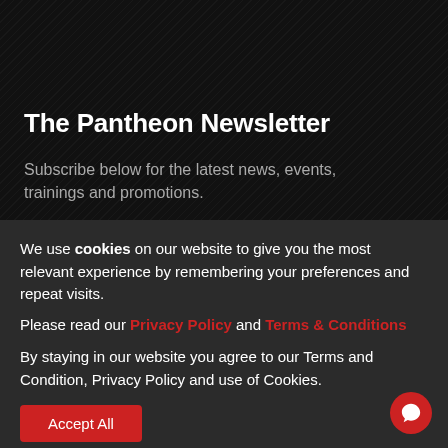The Pantheon Newsletter
Subscribe below for the latest news, events, trainings and promotions.
We use cookies on our website to give you the most relevant experience by remembering your preferences and repeat visits.
Please read our Privacy Policy and Terms & Conditions
By staying in our website you agree to our Terms and Condition, Privacy Policy and use of Cookies.
Accept All